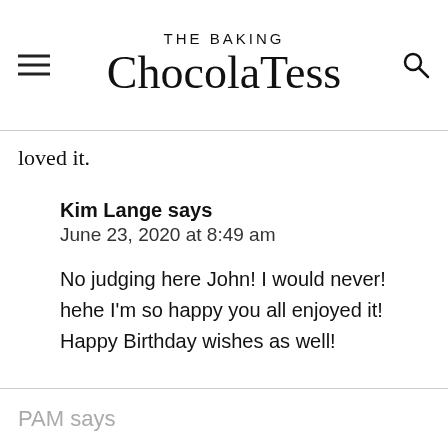THE BAKING ChocolaTess
loved it.
Kim Lange says
June 23, 2020 at 8:49 am
No judging here John! I would never! hehe I'm so happy you all enjoyed it! Happy Birthday wishes as well!
PAM says